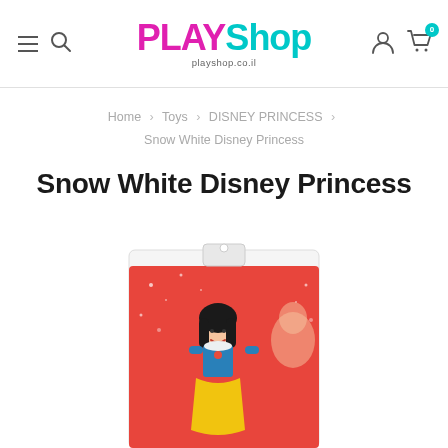PLAYShop playshop.co.il
Home > Toys > DISNEY PRINCESS > Snow White Disney Princess
Snow White Disney Princess
[Figure (photo): Snow White Disney Princess doll in packaging with red sparkle background and Snow White character illustration]